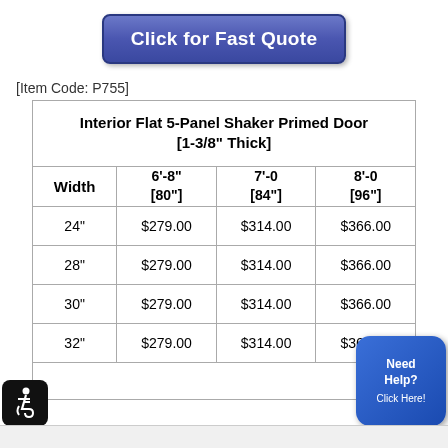[Figure (other): Blue 'Click for Fast Quote' button]
[Item Code: P755]
| Width | 6'-8" [80"] | 7'-0 [84"] | 8'-0 [96"] |
| --- | --- | --- | --- |
| 24" | $279.00 | $314.00 | $366.00 |
| 28" | $279.00 | $314.00 | $366.00 |
| 30" | $279.00 | $314.00 | $366.00 |
| 32" | $279.00 | $314.00 | $366.00 |